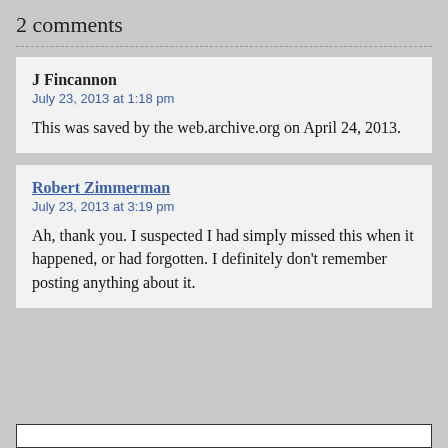2 comments
J Fincannon
July 23, 2013 at 1:18 pm

This was saved by the web.archive.org on April 24, 2013.
Robert Zimmerman
July 23, 2013 at 3:19 pm

Ah, thank you. I suspected I had simply missed this when it happened, or had forgotten. I definitely don't remember posting anything about it.